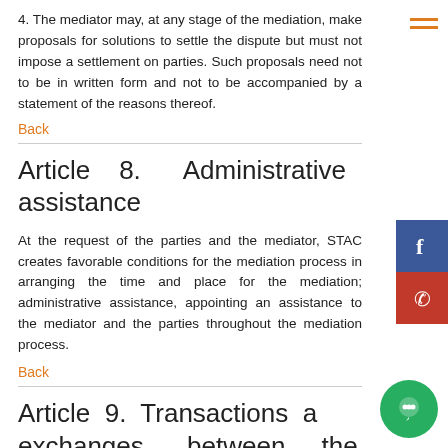4. The mediator may, at any stage of the mediation, make proposals for solutions to settle the dispute but must not impose a settlement on parties. Such proposals need not to be in written form and not to be accompanied by a statement of the reasons thereof.
Back
Article 8. Administrative assistance
At the request of the parties and the mediator, STAC creates favorable conditions for the mediation process in arranging the time and place for the mediation; administrative assistance, appointing an assistance to the mediator and the parties throughout the mediation process.
Back
Article 9. Transactions and exchanges between the mediator and the parties